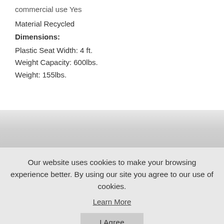commercial use Yes
Material Recycled
Dimensions:
Plastic Seat Width: 4 ft.
Weight Capacity: 600lbs.
Weight: 155lbs.
Our website uses cookies to make your browsing experience better. By using our site you agree to our use of cookies.
Learn More
I Agree